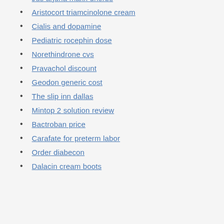Jus arjuna maxx dherbs
Aristocort triamcinolone cream
Cialis and dopamine
Pediatric rocephin dose
Norethindrone cvs
Pravachol discount
Geodon generic cost
The slip inn dallas
Mintop 2 solution review
Bactroban price
Carafate for preterm labor
Order diabecon
Dalacin cream boots